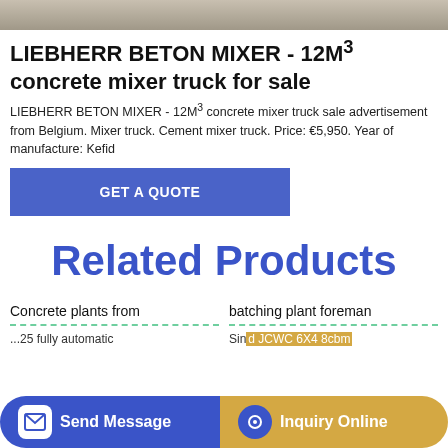[Figure (photo): Top image of a concrete mixer truck, grayscale/tan colored]
LIEBHERR BETON MIXER - 12M³ concrete mixer truck for sale
LIEBHERR BETON MIXER - 12M³ concrete mixer truck sale advertisement from Belgium. Mixer truck. Cement mixer truck. Price: €5,950. Year of manufacture: Kefid
GET A QUOTE
Related Products
Concrete plants from
batching plant foreman
...25 fully automatic
Sin...d JCWC 6X4 8cbm
Send Message
Inquiry Online